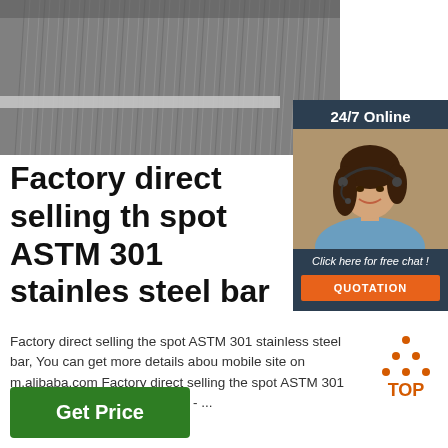[Figure (photo): Coiled stainless steel wire/bar stock bundles stacked together, gray metallic color]
[Figure (photo): Customer service agent woman with headset smiling, with 24/7 Online banner and dark blue background panel including Click here for free chat and QUOTATION button]
Factory direct selling the spot ASTM 301 stainless steel bar
Factory direct selling the spot ASTM 301 stainless steel bar, You can get more details about from mobile site on m.alibaba.com Factory direct selling the spot ASTM 301 stainless steel bar US $ 1,250 - ...
[Figure (logo): TOP button orange dot pattern triangle logo with text TOP]
Get Price